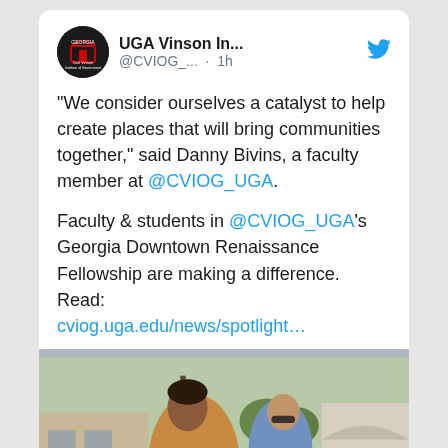UGA Vinson In... @CVIOG_... · 1h
“We consider ourselves a catalyst to help create places that will bring communities together,” said Danny Bivins, a faculty member at @CVIOG_UGA.
Faculty & students in @CVIOG_UGA’s Georgia Downtown Renaissance Fellowship are making a difference. Read: cviog.uga.edu/news/spotlight…
[Figure (photo): Two men outdoors looking at a document or clipboard; one in a tan/mustard t-shirt with curly hair, the other in a blue shirt with sunglasses. Buildings and trees visible in background.]